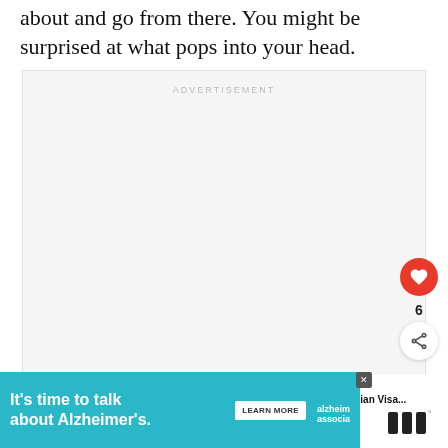about and go from there. You might be surprised at what pops into your head.
[Figure (other): Advertisement placeholder box with label 'ADVERTISEMENT' in light gray text on a light gray background]
[Figure (other): Heart/like button (red circle with white heart icon) with count of 6, and a share button (white circle with share icon)]
[Figure (other): WHAT'S NEXT section with thumbnail image and text 'How to get an Indian Visa...']
[Figure (other): Advertisement banner: teal background with text 'It’s time to talk about Alzheimer’s.' with LEARN MORE button and Alzheimer's Association logo]
[Figure (logo): Logo with three vertical bars and a degree symbol, resembling a media brand mark]